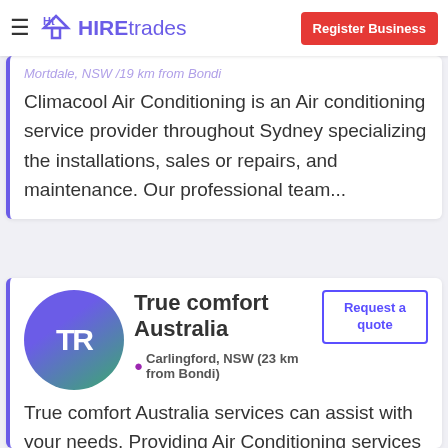HIREtrades — Register Business
Mortdale, NSW /19 km from Bondi
Climacool Air Conditioning is an Air conditioning service provider throughout Sydney specializing the installations, sales or repairs, and maintenance. Our professional team...
[Figure (logo): True comfort Australia business logo with initials TR in a purple-to-green gradient circle]
True comfort Australia
Carlingford, NSW (23 km from Bondi)
Request a quote
True comfort Australia services can assist with your needs. Providing Air Conditioning services across Carlingford,NSW and neighbouring areas. Feel free to ask our team